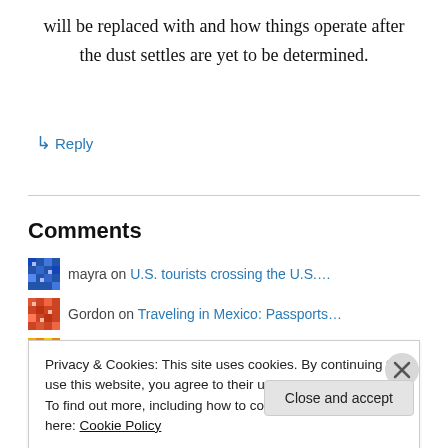will be replaced with and how things operate after the dust settles are yet to be determined.
↳ Reply
Comments
mayra on U.S. tourists crossing the U.S....
Gordon on Traveling in Mexico: Passports...
Grisselda on Answer to question about passp...
Ash on U.S. tourists crossing the U.S.
Privacy & Cookies: This site uses cookies. By continuing to use this website, you agree to their use. To find out more, including how to control cookies, see here: Cookie Policy
Close and accept